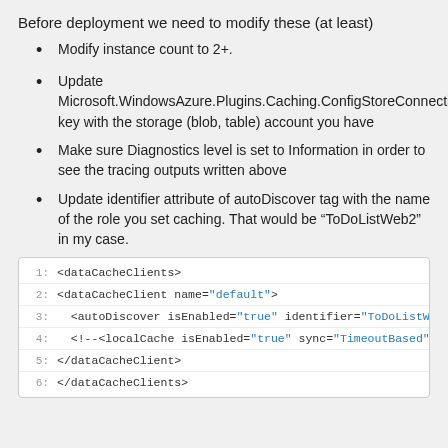Before deployment we need to modify these (at least)
Modify instance count to 2+.
Update Microsoft.WindowsAzure.Plugins.Caching.ConfigStoreConnectionString key with the storage (blob, table) account you have
Make sure Diagnostics level is set to Information in order to see the tracing outputs written above
Update identifier attribute of autoDiscover tag with the name of the role you set caching. That would be “ToDoListWeb2” in my case.
[Figure (screenshot): XML code block showing dataCacheClients configuration with 6 lines of XML]